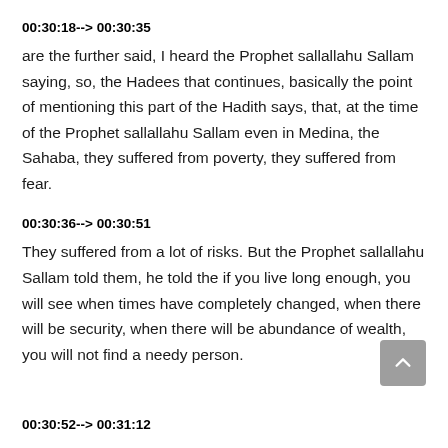00:30:18--> 00:30:35
are the further said, I heard the Prophet sallallahu Sallam saying, so, the Hadees that continues, basically the point of mentioning this part of the Hadith says, that, at the time of the Prophet sallallahu Sallam even in Medina, the Sahaba, they suffered from poverty, they suffered from fear.
00:30:36--> 00:30:51
They suffered from a lot of risks. But the Prophet sallallahu Sallam told them, he told the if you live long enough, you will see when times have completely changed, when there will be security, when there will be abundance of wealth, you will not find a needy person.
00:30:52--> 00:31:12